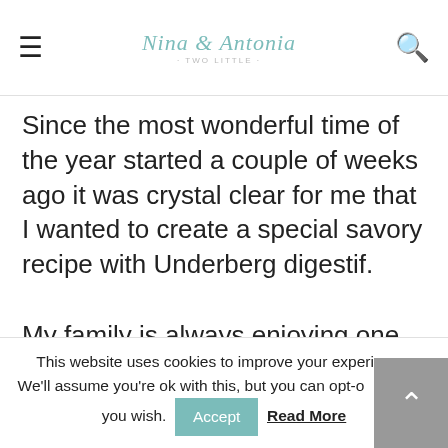Nina & Antonia [logo with circular text]
Since the most wonderful time of the year started a couple of weeks ago it was crystal clear for me that I wanted to create a special savory recipe with Underberg digestif.
My family is always enjoying one of the Christmas holidays with a delicious roasted turkey or some delicious roasted
This website uses cookies to improve your experience. We'll assume you're ok with this, but you can opt-out if you wish. Accept Read More